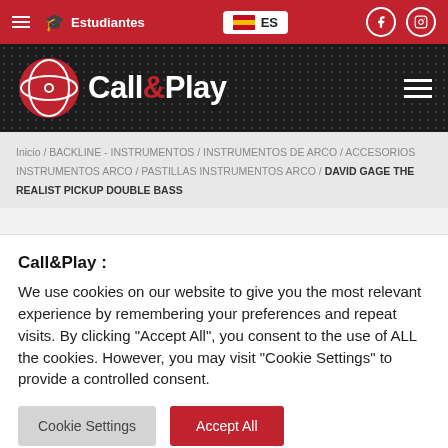Estudiantes  ES  (Facebook) (Instagram)
[Figure (logo): Call&Play logo with red circular icon and white text on dark honeycomb background]
Inicio / BACKLINE - INSTRUMENTOS / INSTRUMENTOS DE ARCO / ACCESORIOS INSTRUMENTOS ARCO / PASTILLAS INSTRUMENTOS ARCO / DAVID GAGE THE REALIST PICKUP DOUBLE BASS
Call&Play :
We use cookies on our website to give you the most relevant experience by remembering your preferences and repeat visits. By clicking "Accept All", you consent to the use of ALL the cookies. However, you may visit "Cookie Settings" to provide a controlled consent.
Cookie Settings  Accept All